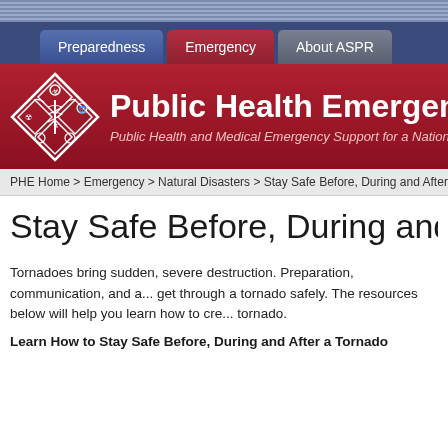[Figure (screenshot): Public Health Emergency website header with navigation tabs (Preparedness, Emergency, About ASPR), PHE logo with caduceus/biohazard emblem, site title 'Public Health Emergency', and subtitle 'Public Health and Medical Emergency Support for a Nation P...']
PHE Home > Emergency > Natural Disasters > Stay Safe Before, During and After a Tor...
Stay Safe Before, During and After a...
Tornadoes bring sudden, severe destruction. Preparation, communication, and a... get through a tornado safely. The resources below will help you learn how to cre... tornado.
Learn How to Stay Safe Before, During and After a Tornado